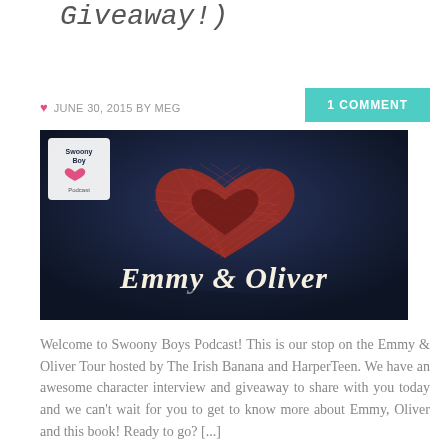Giveaway!)
JUNE 30, 2015 BY MEG
1 COMMENT
[Figure (photo): Book banner image for Emmy & Oliver featuring the title in white cursive script over a dark navy background with a red string-art heart above, and a small Swoony Boys Podcast logo in the upper left corner.]
Welcome to Swoony Boys Podcast! This is our stop on the Emmy & Oliver Tour hosted by The Irish Banana and HarperTeen. We have an awesome character interview and giveaway to share with you today and we can't wait for you to get to know more about Emmy, Oliver and this book! Ready to go? [...]